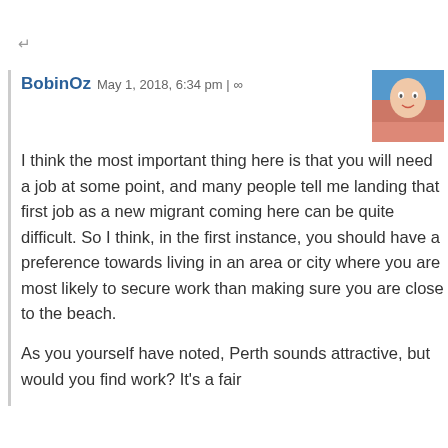↵
BobinOz May 1, 2018, 6:34 pm | ∞

I think the most important thing here is that you will need a job at some point, and many people tell me landing that first job as a new migrant coming here can be quite difficult. So I think, in the first instance, you should have a preference towards living in an area or city where you are most likely to secure work than making sure you are close to the beach.

As you yourself have noted, Perth sounds attractive, but would you find work? It's a fair